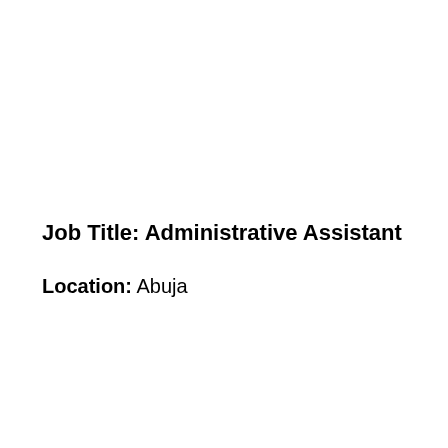Job Title: Administrative Assistant
Location: Abuja